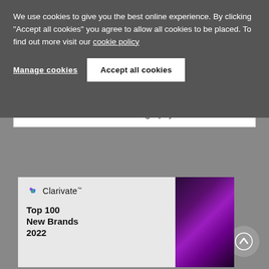We use cookies to give you the best online experience. By clicking "Accept all cookies" you agree to allow all cookies to be placed. To find out more visit our cookie policy
Manage cookies
Accept all cookies
View full biography
[Figure (screenshot): Clarivate advertisement banner with logo and 'Top 100 New Brands 2022' heading, with a dark purple abstract image on the right side]